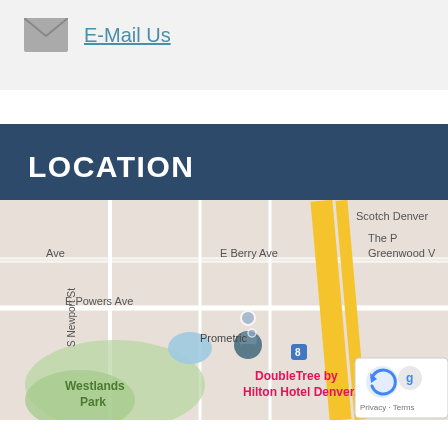E-Mail Us
[Figure (map): Google Maps screenshot showing Prometric location near Westlands Park, Denver. Visible labels: E Berry Ave, E Powers Ave, S Newport St, Scotch Denver, The P Greenwood V, Westlands Park, Prometric (pin), DoubleTree by Hilton Hotel Denver...]
LOCATION